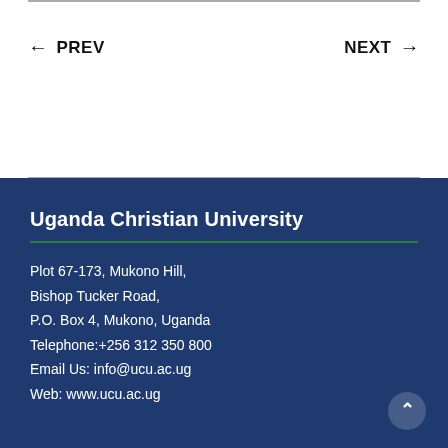← PREV   NEXT →
Uganda Christian University
Plot 67-173, Mukono Hill,
Bishop Tucker Road,
P.O. Box 4, Mukono, Uganda
Telephone:+256 312 350 800
Email Us: info@ucu.ac.ug
Web: www.ucu.ac.ug